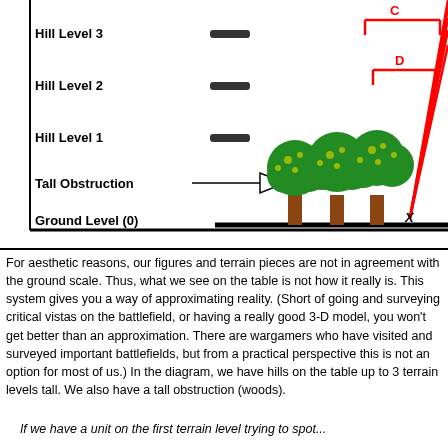[Figure (illustration): Terrain level diagram showing Hill Level 3, Hill Level 2, Hill Level 1, Tall Obstruction (with arrow), and Ground Level (0). Green trees are shown as tall obstructions. Red lines radiate from upper right showing lines of sight labeled C and D. An X marks a point at ground level near the trees.]
For aesthetic reasons, our figures and terrain pieces are not in agreement with the ground scale. Thus, what we see on the table is not how it really is. This system gives you a way of approximating reality. (Short of going and surveying critical vistas on the battlefield, or having a really good 3-D model, you won't get better than an approximation. There are wargamers who have visited and surveyed important battlefields, but from a practical perspective this is not an option for most of us.) In the diagram, we have hills on the table up to 3 terrain levels tall. We also have a tall obstruction (woods).
If we have a unit on the first terrain level trying to spot...